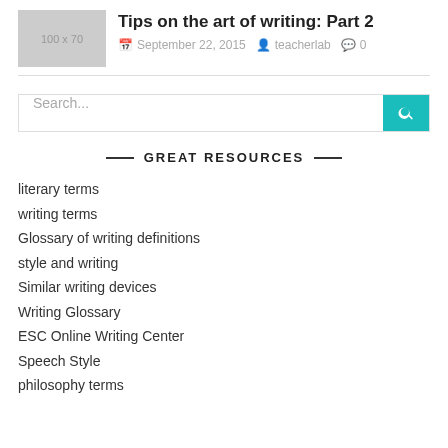[Figure (photo): Placeholder image thumbnail, 100x70, grey background]
Tips on the art of writing: Part 2
September 22, 2015  teacherlab  0
[Figure (other): Search bar with teal search button]
— GREAT RESOURCES —
literary terms
writing terms
Glossary of writing definitions
style and writing
Similar writing devices
Writing Glossary
ESC Online Writing Center
Speech Style
philosophy terms